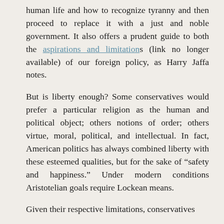human life and how to recognize tyranny and then proceed to replace it with a just and noble government. It also offers a prudent guide to both the aspirations and limitations (link no longer available) of our foreign policy, as Harry Jaffa notes.
But is liberty enough? Some conservatives would prefer a particular religion as the human and political object; others notions of order; others virtue, moral, political, and intellectual. In fact, American politics has always combined liberty with these esteemed qualities, but for the sake of “safety and happiness.” Under modern conditions Aristotelian goals require Lockean means.
Given their respective limitations, conservatives